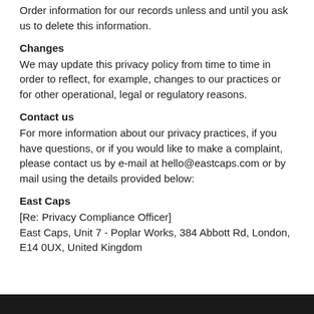Order information for our records unless and until you ask us to delete this information.
Changes
We may update this privacy policy from time to time in order to reflect, for example, changes to our practices or for other operational, legal or regulatory reasons.
Contact us
For more information about our privacy practices, if you have questions, or if you would like to make a complaint, please contact us by e-mail at hello@eastcaps.com or by mail using the details provided below:
East Caps
[Re: Privacy Compliance Officer]
East Caps, Unit 7 - Poplar Works, 384 Abbott Rd, London, E14 0UX, United Kingdom